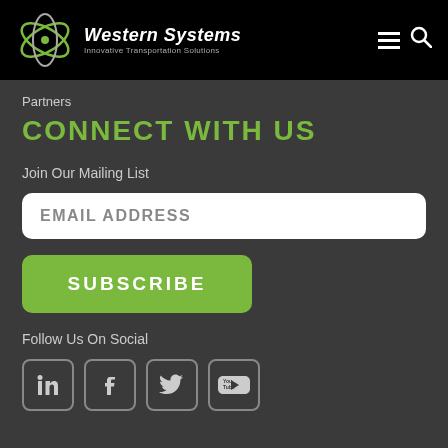Western Systems — Innovative Transportation Solutions
Partners
CONNECT WITH US
Join Our Mailing List
EMAIL ADDRESS
SUBSCRIBE
Follow Us On Social
[Figure (illustration): Social media icons: LinkedIn, Facebook, Twitter, YouTube]